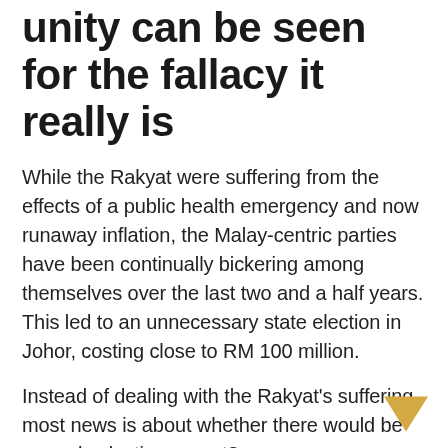unity can be seen for the fallacy it really is
While the Rakyat were suffering from the effects of a public health emergency and now runaway inflation, the Malay-centric parties have been continually bickering among themselves over the last two and a half years. This led to an unnecessary state election in Johor, costing close to RM 100 million.
Instead of dealing with the Rakyat's suffering, most news is about whether there would be an early election, or not?
The culture of feudalism, patronage, and cronyism dominates the political system. However, some cracks, although very small ones are appearing. This is not coming from the opposition side of…